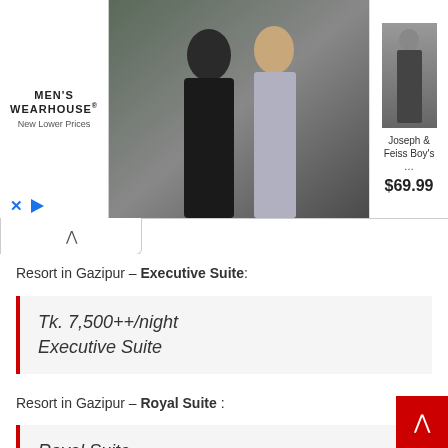[Figure (screenshot): Men's Wearhouse advertisement banner showing a couple in formal wear and a boy's suit priced at $69.99]
Resort in Gazipur – Executive Suite:
Tk. 7,500++/night
Executive Suite
Resort in Gazipur – Royal Suite :
Royal Suite
Tk. 16,500++/night